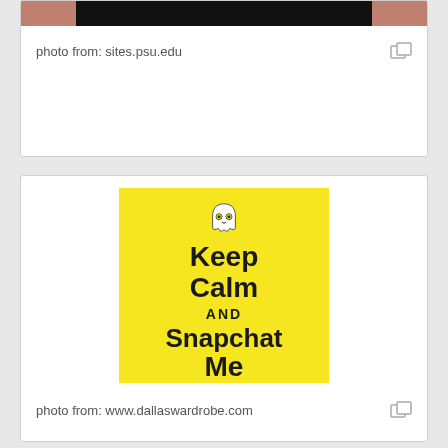[Figure (photo): Partial photo strip at top showing dark background with skin-toned edges (hands/face cropped)]
photo from: sites.psu.edu
[Figure (illustration): Yellow 'Keep Calm and Snapchat Me' poster with Snapchat ghost logo at top]
photo from: www.dallaswardrobe.com